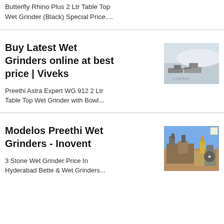Butterfly Rhino Plus 2 Ltr Table Top Wet Grinder (Black) Special Price....
Buy Latest Wet Grinders online at best price | Viveks
Preethi Astra Expert WG 912 2 Ltr Table Top Wet Grinder with Bowl...
[Figure (photo): Industrial quarry equipment / stone crushers on white/grey rocky terrain]
Modelos Preethi Wet Grinders - Inovent
3 Stone Wet Grinder Price In Hyderabad Bette & Wet Grinders...
[Figure (photo): Industrial mining/crushing machinery at outdoor site with blue sky]